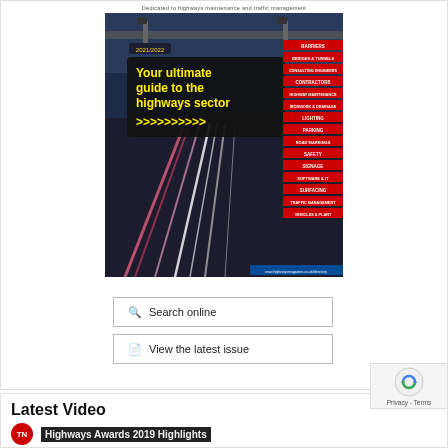Dedicated to highways maintenance and traffic management
[Figure (illustration): Highways Magazine 2021/2022 directory cover showing motorway at night with text 'Your ultimate guide to the highways sector >>>>>>>>>>' and category tabs on the right side including BARRIERS, BRIDGES & TUNNELS, CONSULTING ENGINEERS, CONTRACTORS, HIGHWAY MAINTENANCE, IRONWORK & DRAINAGE, LIGHTING, PARKING, ROAD MARKINGS, SAFETY, SIGNAGE, SOFTWARE & IT, SURFACING, TRAFFIC MANAGEMENT, VEHICLES & PLANT]
🔍 Search online
📄 View the latest issue
Latest Video
[Figure (screenshot): Video thumbnail showing Highways Awards 2019 Highlights with TN logo]
[Figure (other): reCAPTCHA privacy badge with Privacy - Terms text]